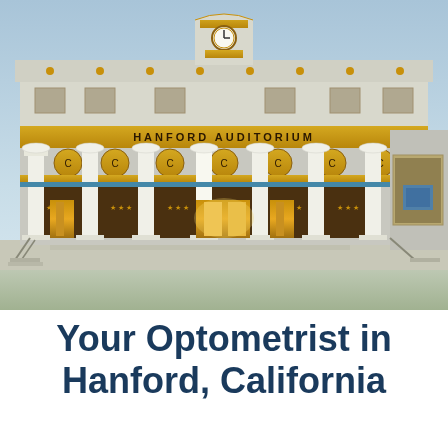[Figure (photo): Exterior photograph of the Hanford Auditorium building at dusk/evening. The building features neoclassical architecture with tall white Ionic columns, gold/yellow decorative trim and accents, a clock tower at the top center, ornate gold medallions between the columns, and large gold doors. The sign 'HANFORD AUDITORIUM' is inscribed across the upper facade. Steps lead up to the entrance.]
Your Optometrist in Hanford, California